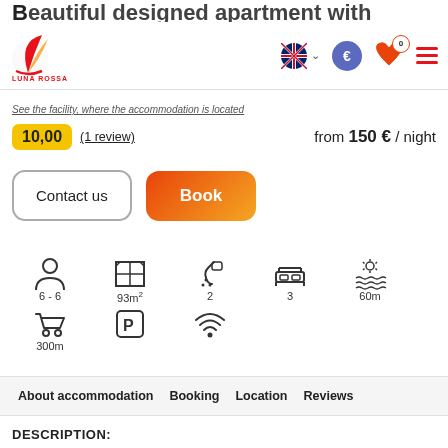Luna Rossa Tourist Agency
Beautiful designed apartment with
(link bar) where the accommodation is located
10,00  (1 review)   from 150 € / night
Contact us  Book
[Figure (infographic): Amenity icons: persons 6-6, area 93m2, showers 2, bedrooms 3, sea distance 60m, supermarket 300m, parking, wifi]
About accommodation  Booking  Location  Reviews
DESCRIPTION: